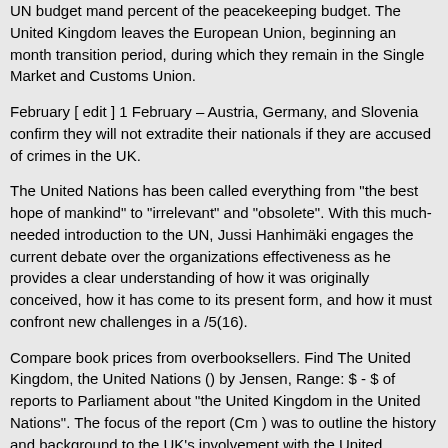UN budget mand percent of the peacekeeping budget. The United Kingdom leaves the European Union, beginning an month transition period, during which they remain in the Single Market and Customs Union.
February [ edit ] 1 February – Austria, Germany, and Slovenia confirm they will not extradite their nationals if they are accused of crimes in the UK.
The United Nations has been called everything from "the best hope of mankind" to "irrelevant" and "obsolete". With this much-needed introduction to the UN, Jussi Hanhimäki engages the current debate over the organizations effectiveness as he provides a clear understanding of how it was originally conceived, how it has come to its present form, and how it must confront new challenges in a /5(16).
Compare book prices from overbooksellers. Find The United Kingdom, the United Nations () by Jensen, Range: $ - $ of reports to Parliament about "the United Kingdom in the United Nations". The focus of the report (Cm ) was to outline the history and background to the UK's involvement with the United Nations.
The report (Cm ) reviewed developments since publication of. The Big Read was a survey on books carried out by the BBC in